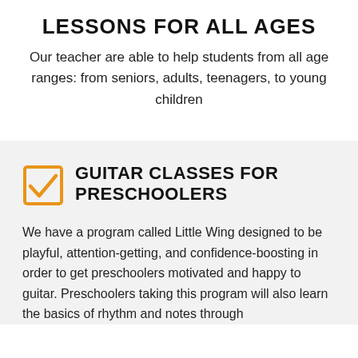LESSONS FOR ALL AGES
Our teacher are able to help students from all age ranges: from seniors, adults, teenagers, to young children
GUITAR CLASSES FOR PRESCHOOLERS
We have a program called Little Wing designed to be playful, attention-getting, and confidence-boosting in order to get preschoolers motivated and happy to guitar. Preschoolers taking this program will also learn the basics of rhythm and notes through